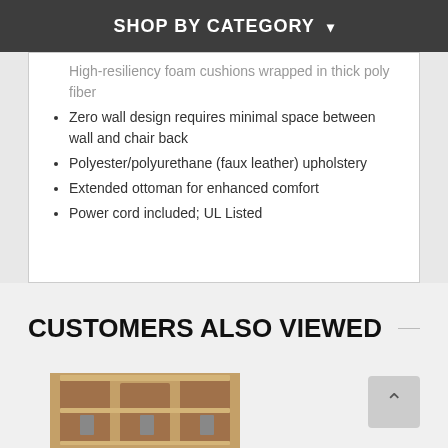SHOP BY CATEGORY ▾
High-resiliency foam cushions wrapped in thick poly fiber
Zero wall design requires minimal space between wall and chair back
Polyester/polyurethane (faux leather) upholstery
Extended ottoman for enhanced comfort
Power cord included; UL Listed
CUSTOMERS ALSO VIEWED
[Figure (photo): Product image of a wood/rattan corner shelf unit]